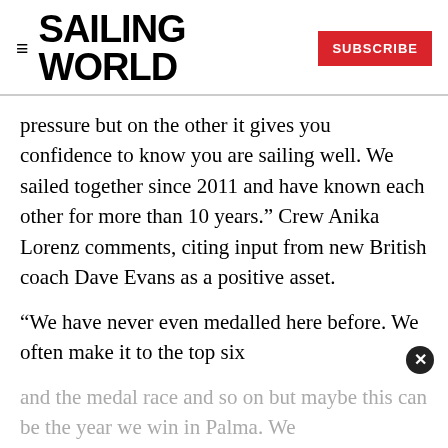SAILING WORLD
pressure but on the other it gives you confidence to know you are sailing well. We sailed together since 2011 and have known each other for more than 10 years.” Crew Anika Lorenz comments, citing input from new British coach Dave Evans as a positive asset.
“We have never even medalled here before. We often make it to the top six and the medal race and so on but maybe this can be the year we win in Palma. We